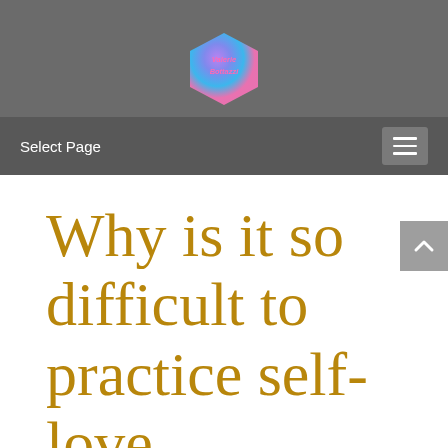[Figure (logo): Colorful hexagonal/diamond-shaped logo with purple, blue, and pink gradient colors, containing text 'Valerie Bottazzi' in pink italic font]
Select Page
Why is it so difficult to practice self-love